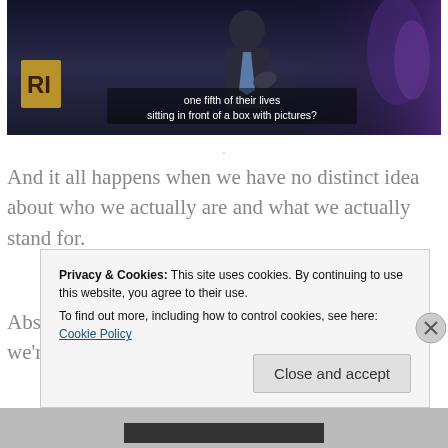[Figure (screenshot): Video screenshot showing a speaker in a suit with subtitle text: 'one fifth of their lives sitting in front of a box with pictures?']
And it all happens when we have no distinct idea about who we actually are and what we actually stand for.
Absent clarity of intent and intuitive self-reliance we're bound to forfeit our agency and to defer
Privacy & Cookies: This site uses cookies. By continuing to use this website, you agree to their use.
To find out more, including how to control cookies, see here: Cookie Policy